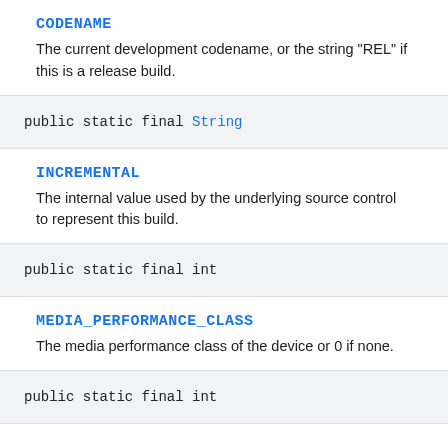CODENAME
The current development codename, or the string "REL" if this is a release build.
public static final String
INCREMENTAL
The internal value used by the underlying source control to represent this build.
public static final int
MEDIA_PERFORMANCE_CLASS
The media performance class of the device or 0 if none.
public static final int